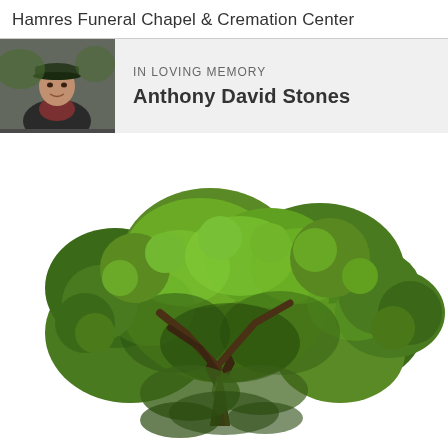Hamres Funeral Chapel & Cremation Center
IN LOVING MEMORY
Anthony David Stones
[Figure (photo): Portrait photo of an elderly man wearing a dark cap and jacket, outdoors]
[Figure (photo): Large green deciduous tree with full leafy canopy against white background, showing trunk and branches]